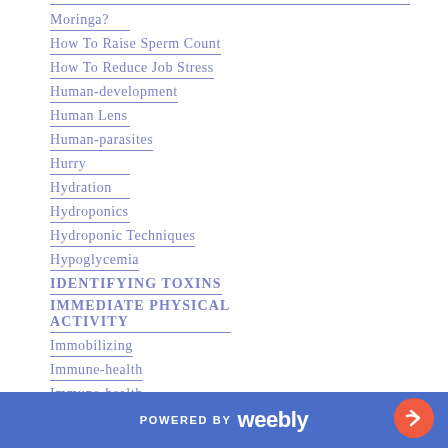Moringa?
How To Raise Sperm Count
How To Reduce Job Stress
Human-development
Human Lens
Human-parasites
Hurry
Hydration
Hydroponics
Hydroponic Techniques
Hypoglycemia
IDENTIFYING TOXINS
IMMEDIATE PHYSICAL ACTIVITY
Immobilizing
Immune-health
Immune-health
POWERED BY weebly